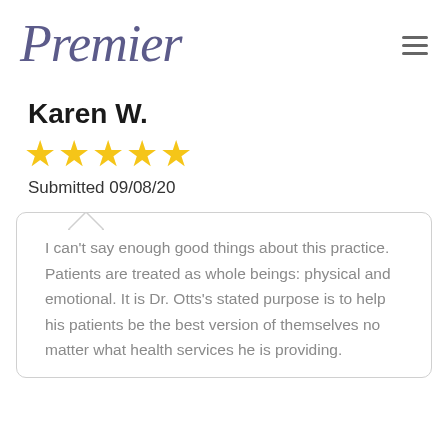[Figure (logo): Premier logo in cursive/italic purple text]
Karen W.
[Figure (other): Five gold/yellow star rating icons]
Submitted 09/08/20
I can't say enough good things about this practice. Patients are treated as whole beings: physical and emotional. It is Dr. Otts's stated purpose is to help his patients be the best version of themselves no matter what health services he is providing.